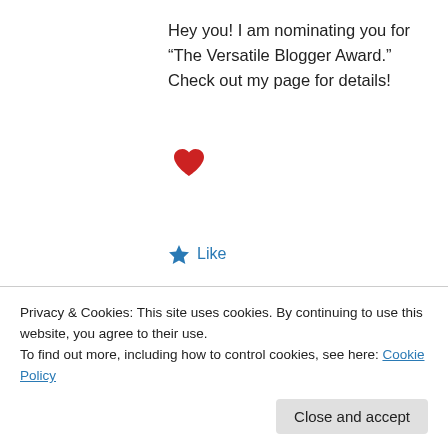Hey you! I am nominating you for “The Versatile Blogger Award.” Check out my page for details!
[Figure (illustration): Red heart emoji/icon]
★ Like
↪ Reply
Deidra Alexander on December 27, 2011 at 6:30 pm
Thanks. I won’t be able to get to this until
Privacy & Cookies: This site uses cookies. By continuing to use this website, you agree to their use.
To find out more, including how to control cookies, see here: Cookie Policy
Close and accept